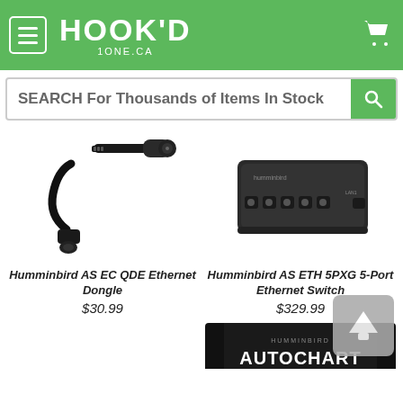[Figure (screenshot): Hook'd online store header with green background, menu hamburger icon, Hook'd logo text, and cart icon]
[Figure (screenshot): Search bar with placeholder text SEARCH For Thousands of Items In Stock and green search button]
[Figure (photo): Humminbird AS EC QDE Ethernet Dongle – black cable with connectors on white background]
Humminbird AS EC QDE Ethernet Dongle
$30.99
[Figure (photo): Humminbird AS ETH 5PXG 5-Port Ethernet Switch – dark grey box with multiple ports]
Humminbird AS ETH 5PXG 5-Port Ethernet Switch
$329.99
[Figure (photo): Partial view of Humminbird Autochart product at bottom of page]